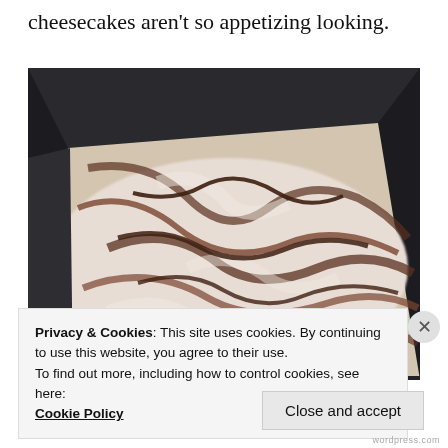cheesecakes aren't so appetizing looking.
[Figure (photo): Close-up overhead photo of a chocolate swirl cheesecake batter in a dark metal baking pan, showing cream cheese and chocolate swirled together in decorative patterns.]
Privacy & Cookies: This site uses cookies. By continuing to use this website, you agree to their use.
To find out more, including how to control cookies, see here: Cookie Policy
Close and accept